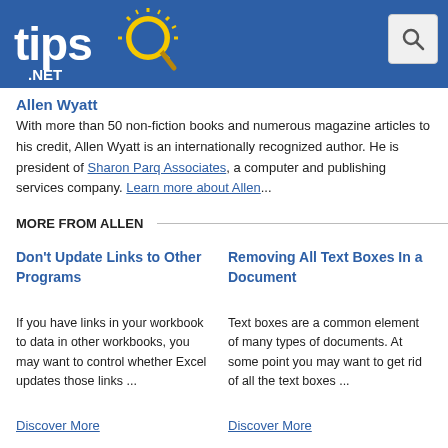tips.NET
Allen Wyatt
With more than 50 non-fiction books and numerous magazine articles to his credit, Allen Wyatt is an internationally recognized author. He is president of Sharon Parq Associates, a computer and publishing services company. Learn more about Allen...
MORE FROM ALLEN
Don't Update Links to Other Programs
If you have links in your workbook to data in other workbooks, you may want to control whether Excel updates those links ...
Discover More
Removing All Text Boxes In a Document
Text boxes are a common element of many types of documents. At some point you may want to get rid of all the text boxes ...
Discover More